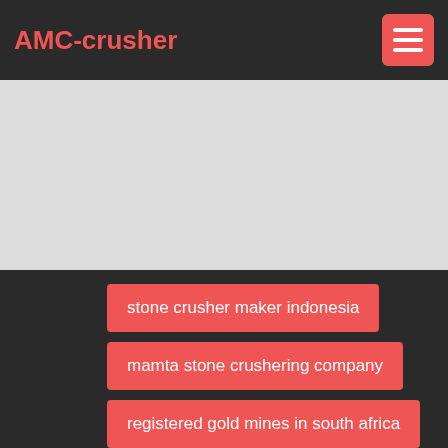AMC-crusher
[Figure (other): Light gray banner/hero image area]
stone crusher maker indonesia
mamta stone crushering company
registered gold mines in south africa
ls dyna tube crushing
white clay clay third generation sand making machine